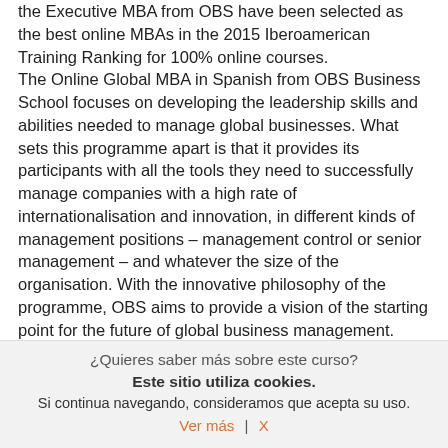the Executive MBA from OBS have been selected as the best online MBAs in the 2015 Iberoamerican Training Ranking for 100% online courses. The Online Global MBA in Spanish from OBS Business School focuses on developing the leadership skills and abilities needed to manage global businesses. What sets this programme apart is that it provides its participants with all the tools they need to successfully manage companies with a high rate of internationalisation and innovation, in different kinds of management positions – management control or senior management – and whatever the size of the organisation. With the innovative philosophy of the programme, OBS aims to provide a vision of the starting point for the future of global business management. Furthermore, the programme offers its participants a new and pioneering Professional Skills Development Programme, developed OBS and delivered by recognised professionals and experts in Human Resources.
¿Quieres saber más sobre este curso?
Este sitio utiliza cookies.
Si continua navegando, consideramos que acepta su uso.
Ver más  |  X